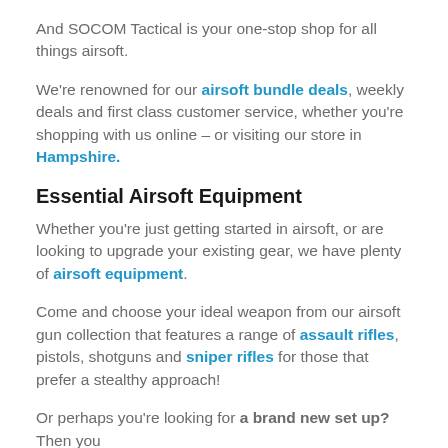And SOCOM Tactical is your one-stop shop for all things airsoft.
We're renowned for our airsoft bundle deals, weekly deals and first class customer service, whether you're shopping with us online – or visiting our store in Hampshire.
Essential Airsoft Equipment
Whether you're just getting started in airsoft, or are looking to upgrade your existing gear, we have plenty of airsoft equipment.
Come and choose your ideal weapon from our airsoft gun collection that features a range of assault rifles, pistols, shotguns and sniper rifles for those that prefer a stealthy approach!
Or perhaps you're looking for a brand new set up? Then you